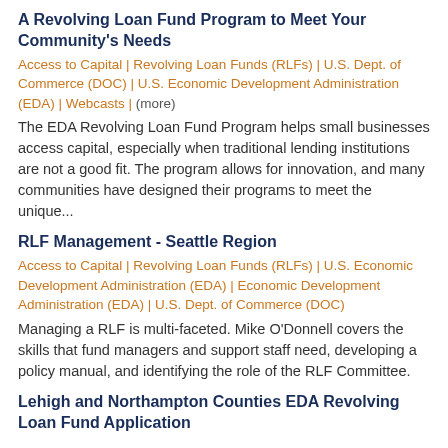A Revolving Loan Fund Program to Meet Your Community's Needs
Access to Capital | Revolving Loan Funds (RLFs) | U.S. Dept. of Commerce (DOC) | U.S. Economic Development Administration (EDA) | Webcasts | (more)
The EDA Revolving Loan Fund Program helps small businesses access capital, especially when traditional lending institutions are not a good fit. The program allows for innovation, and many communities have designed their programs to meet the unique...
RLF Management - Seattle Region
Access to Capital | Revolving Loan Funds (RLFs) | U.S. Economic Development Administration (EDA) | Economic Development Administration (EDA) | U.S. Dept. of Commerce (DOC)
Managing a RLF is multi-faceted. Mike O'Donnell covers the skills that fund managers and support staff need, developing a policy manual, and identifying the role of the RLF Committee.
Lehigh and Northampton Counties EDA Revolving Loan Fund Application